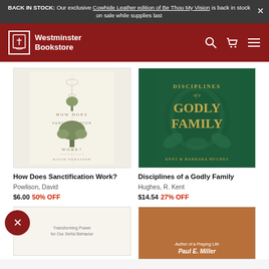BACK IN STOCK: Our exclusive Cowhide Leather edition of Be Thou My Vision is back in stock on sale while supplies last
[Figure (screenshot): Westminster Bookstore navigation bar with logo, search, cart, and menu icons on dark red background]
[Figure (photo): Book cover: How Does Sanctification Work? by David Powlison — cream colored cover with tree illustrations]
[Figure (photo): Book cover: Disciplines of a Godly Family by Kent & Barbara Hughes — dark green cover with gold lettering and decorative leaf pattern]
How Does Sanctification Work?
Powlison, David
$6.00 50% OFF
Disciplines of a Godly Family
Hughes, R. Kent
$14.54 27% OFF
[Figure (photo): Partial book cover bottom — cream colored with text 'Transforming Power for Our Sinful Behavior']
[Figure (photo): Partial book cover — brown/amber background with text 'Author of a Praying Life Paul E. Miller']